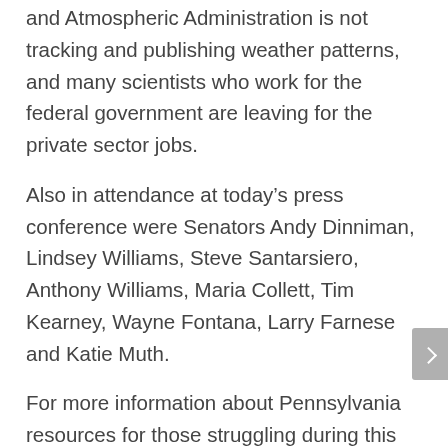and Atmospheric Administration is not tracking and publishing weather patterns, and many scientists who work for the federal government are leaving for the private sector jobs.
Also in attendance at today’s press conference were Senators Andy Dinniman, Lindsey Williams, Steve Santarsiero, Anthony Williams, Maria Collett, Tim Kearney, Wayne Fontana, Larry Farnese and Katie Muth.
For more information about Pennsylvania resources for those struggling during this shutdown of the federal government, visit pasenate.com/snap for more information.